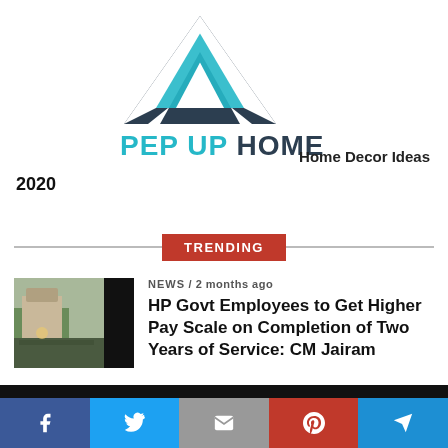[Figure (logo): Pep Up Home logo - geometric mountain/house shape in dark gray and teal]
PEP UP HOME
Home Decor Ideas
2020
TRENDING
[Figure (photo): Outdoor event with crowd and speaker at podium]
NEWS / 2 months ago
HP Govt Employees to Get Higher Pay Scale on Completion of Two Years of Service: CM Jairam
[Figure (infographic): Social sharing bar with Facebook, Twitter, Email, Pinterest, Telegram buttons]